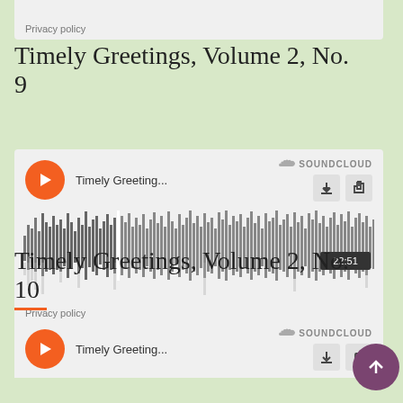Privacy policy
Timely Greetings, Volume 2, No. 9
[Figure (screenshot): SoundCloud embedded audio player for 'Timely Greeting...' showing waveform visualization with timestamp 22:51, play button, download and share icons, and SoundCloud branding.]
Privacy policy
Timely Greetings, Volume 2, No. 10
[Figure (screenshot): SoundCloud embedded audio player for 'Timely Greeting...' showing play button, track title, SoundCloud branding, download and share icons. Player is partially visible.]